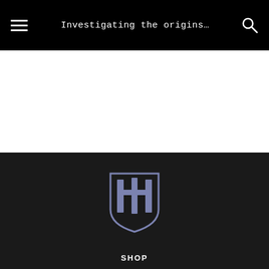Investigating the origins…
[Figure (illustration): White blank content area]
[Figure (logo): Shield logo with cross and vertical pillars in muted blue/purple color on dark background]
SHOP
MAGAZINE
ABOUT